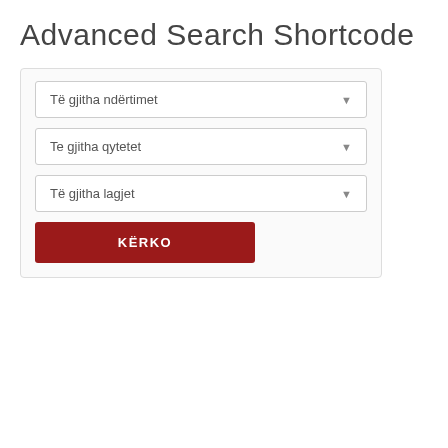Advanced Search Shortcode
[Figure (screenshot): A search form with three dropdown selectors labeled 'Të gjitha ndërtimet', 'Te gjitha qytetet', 'Të gjitha lagjet', and a dark red search button labeled 'KËRKO']